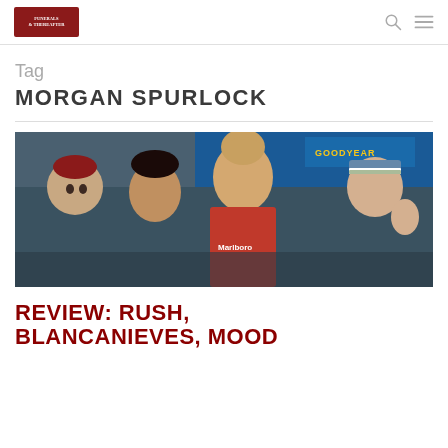Funerals & Thereafter [logo] [search icon] [menu icon]
Tag
MORGAN SPURLOCK
[Figure (photo): A still from the film Rush showing a racing driver in a red Marlboro suit surrounded by women, including a blonde woman in a red beret, a dark-haired woman, and a woman with a striped headband giving a peace sign. A Goodyear banner and blue signage are visible in the background.]
REVIEW: RUSH, BLANCANIEVES, MOOD